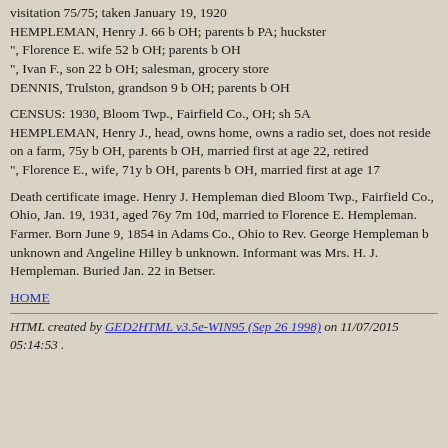visitation 75/75; taken January 19, 1920
HEMPLEMAN, Henry J. 66 b OH; parents b PA; huckster
", Florence E. wife 52 b OH; parents b OH
", Ivan F., son 22 b OH; salesman, grocery store
DENNIS, Trulston, grandson 9 b OH; parents b OH
CENSUS: 1930, Bloom Twp., Fairfield Co., OH; sh 5A
HEMPLEMAN, Henry J., head, owns home, owns a radio set, does not reside on a farm, 75y b OH, parents b OH, married first at age 22, retired
", Florence E., wife, 71y b OH, parents b OH, married first at age 17
Death certificate image. Henry J. Hempleman died Bloom Twp., Fairfield Co., Ohio, Jan. 19, 1931, aged 76y 7m 10d, married to Florence E. Hempleman. Farmer. Born June 9, 1854 in Adams Co., Ohio to Rev. George Hempleman b unknown and Angeline Hilley b unknown. Informant was Mrs. H. J. Hempleman. Buried Jan. 22 in Betser.
HOME
HTML created by GED2HTML v3.5e-WIN95 (Sep 26 1998) on 11/07/2015 05:14:53 .